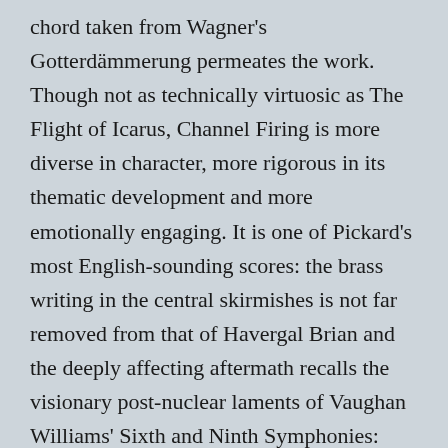chord taken from Wagner's Gotterdämmerung permeates the work. Though not as technically virtuosic as The Flight of Icarus, Channel Firing is more diverse in character, more rigorous in its thematic development and more emotionally engaging. It is one of Pickard's most English-sounding scores: the brass writing in the central skirmishes is not far removed from that of Havergal Brian and the deeply affecting aftermath recalls the visionary post-nuclear laments of Vaughan Williams' Sixth and Ninth Symphonies: these associations, together with a scrupulous working-out of the material, prompts the feeling that